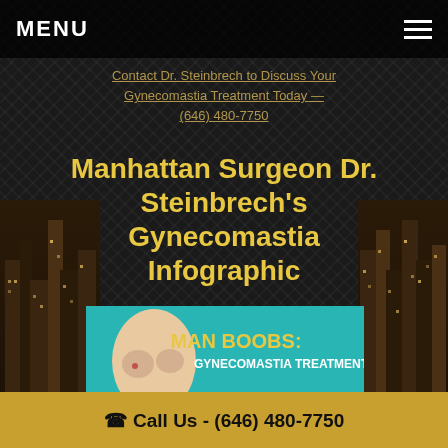MENU
Contact Dr. Steinbrech to Discuss Your Gynecomastia Treatment Today — (646) 480-7750
Manhattan Surgeon Dr. Steinbrech's Gynecomastia Infographic
[Figure (infographic): Infographic about Man Boobs: Gynecomastia Treatment. Shows a male torso illustration on teal background with yellow text 'MAN BOOBS: GYNECOMASTIA TREATMENT' and a section 'WHAT IS GYNECOMASTIA' with text 'Gynecomastia is enlargement of the glandular tissue of the male breast.']
Call Us - (646) 480-7750